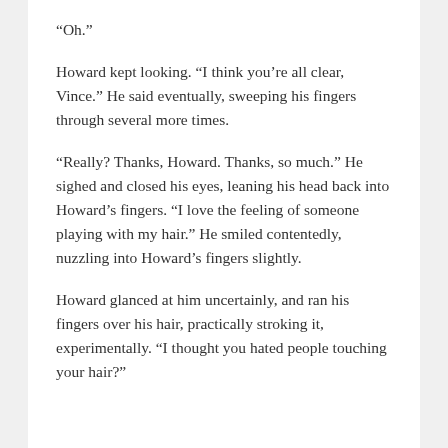“Oh.”
Howard kept looking. “I think you’re all clear, Vince.” He said eventually, sweeping his fingers through several more times.
“Really? Thanks, Howard. Thanks, so much.” He sighed and closed his eyes, leaning his head back into Howard’s fingers. “I love the feeling of someone playing with my hair.” He smiled contentedly, nuzzling into Howard’s fingers slightly.
Howard glanced at him uncertainly, and ran his fingers over his hair, practically stroking it, experimentally. “I thought you hated people touching your hair?”